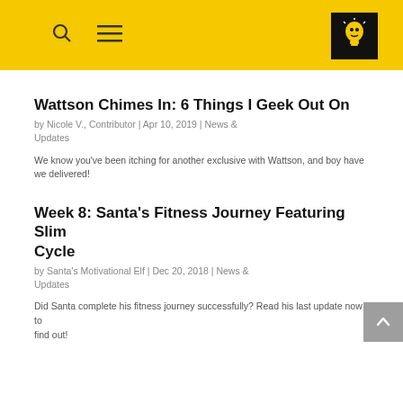[Figure (logo): Yellow navigation bar with search icon, hamburger menu icon, and a black square logo with a light bulb character labeled 'Bulb Head']
Wattson Chimes In: 6 Things I Geek Out On
by Nicole V., Contributor | Apr 10, 2019 | News & Updates
We know you've been itching for another exclusive with Wattson, and boy have we delivered!
Week 8: Santa's Fitness Journey Featuring Slim Cycle
by Santa's Motivational Elf | Dec 20, 2018 | News & Updates
Did Santa complete his fitness journey successfully? Read his last update now to find out!